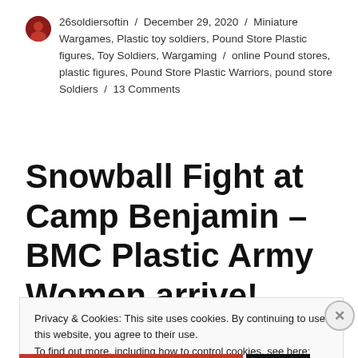26soldiersoftin / December 29, 2020 / Miniature Wargames, Plastic toy soldiers, Pound Store Plastic figures, Toy Soldiers, Wargaming / online Pound stores, plastic figures, Pound Store Plastic Warriors, pound store Soldiers / 13 Comments
Snowball Fight at Camp Benjamin – BMC Plastic Army Women arrive!
Privacy & Cookies: This site uses cookies. By continuing to use this website, you agree to their use.
To find out more, including how to control cookies, see here: Cookie Policy